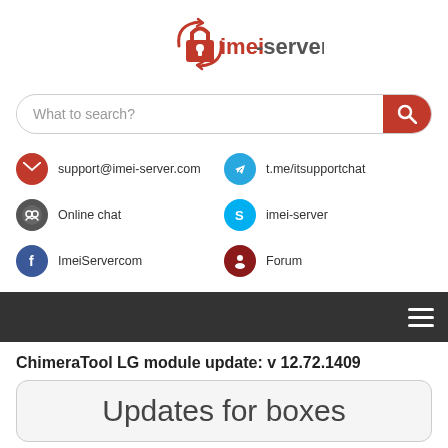[Figure (logo): imei-server.com logo with red lock icon and red arrow]
[Figure (screenshot): Search bar with placeholder 'What to search?' and red search button]
support@imei-server.com
t.me/itsupportchat
Online chat
imei-server
ImeiServercom
Forum
[Figure (screenshot): Dark navigation bar with hamburger menu icon]
ChimeraTool LG module update: v 12.72.1409
Updates for boxes
[Figure (photo): Partial image of a device/box visible at the bottom of the page]